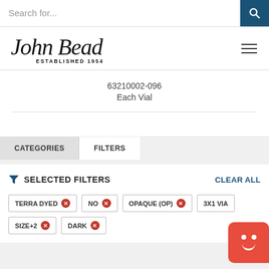Search for...
[Figure (logo): John Bead logo — cursive script 'John Bead' with 'ESTABLISHED 1954' below]
63210002-096
Each Vial
CATEGORIES	FILTERS
SELECTED FILTERS
CLEAR ALL
TERRA DYED ×
NO ×
OPAQUE (OP) ×
3X1 VIA...
SIZE+2 ×
DARK ×